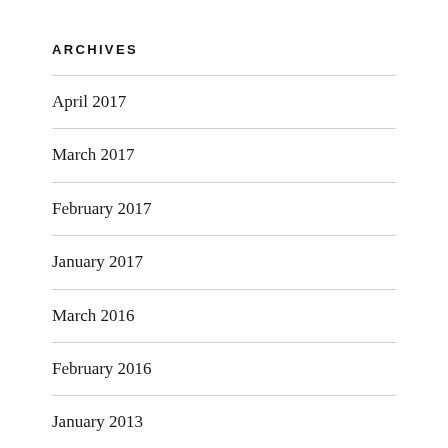ARCHIVES
April 2017
March 2017
February 2017
January 2017
March 2016
February 2016
January 2013
CATEGORIES